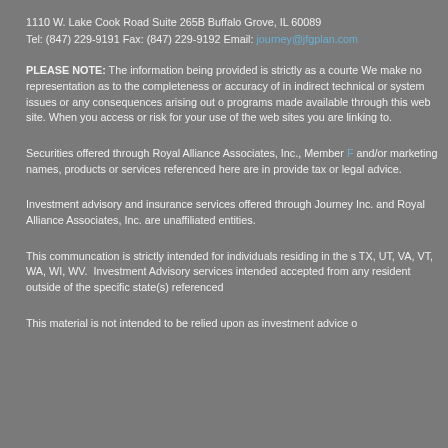1110 W. Lake Cook Road Suite 265B Buffalo Grove, IL 60089
Tel: (847) 229-9191 Fax: (847) 229-9192 Email: journey@jfgplan.com
PLEASE NOTE: The information being provided is strictly as a courtesy. We make no representation as to the completeness or accuracy of information transmitted or indirect technical or system issues or any consequences arising out of your access to or your use of third-party technologies or programs made available through this web site. When you access one of these web sites, you are leaving our web site and assume total responsibility and risk for your use of the web sites you are linking to.
Securities offered through Royal Alliance Associates, Inc., Member FINRA/SIPC. The trade names and/or marketing names, products or services referenced here are independent of Royal Alliance. We do not provide tax or legal advice.
Investment advisory and insurance services offered through Journey Financial Group, Inc. and Royal Alliance Associates, Inc. are unaffiliated entities.
This communcation is strictly intended for individuals residing in the states of: TX, UT, VA, VT, WA, WI, WV.  Investment Advisory services intended only for residents of states listed. No offers may be accepted from any resident outside of the specific state(s) referenced.
This material is not intended to be relied upon as investment advice or